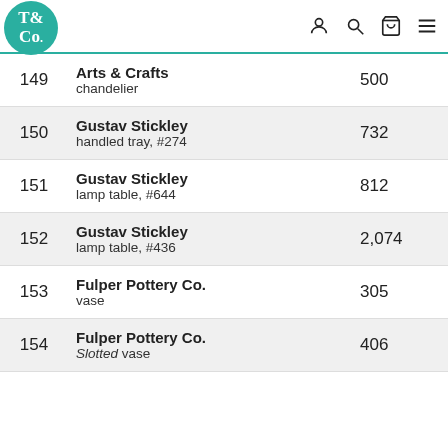T& Co. [logo] [user icon] [search icon] [cart icon] [menu icon]
| Lot | Description | Price |
| --- | --- | --- |
| 149 | Arts & Crafts
chandelier | 500 |
| 150 | Gustav Stickley
handled tray, #274 | 732 |
| 151 | Gustav Stickley
lamp table, #644 | 812 |
| 152 | Gustav Stickley
lamp table, #436 | 2,074 |
| 153 | Fulper Pottery Co.
vase | 305 |
| 154 | Fulper Pottery Co.
Slotted vase | 406 |